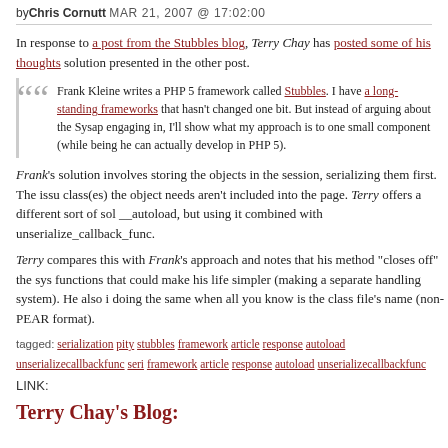byChris Cornutt MAR 21, 2007 @ 17:02:00
In response to a post from the Stubbles blog, Terry Chay has posted some of his thoughts solution presented in the other post.
Frank Kleine writes a PHP 5 framework called Stubbles. I have a long-standing frameworks that hasn't changed one bit. But instead of arguing about the Sysap engaging in, I'll show what my approach is to one small component (while being he can actually develop in PHP 5).
Frank's solution involves storing the objects in the session, serializing them first. The issu class(es) the object needs aren't included into the page. Terry offers a different sort of sol __autoload, but using it combined with unserialize_callback_func.
Terry compares this with Frank's approach and notes that his method "closes off" the sys functions that could make his life simpler (making a separate handling system). He also i doing the same when all you know is the class file's name (non-PEAR format).
tagged: serialization pity stubbles framework article response autoload unserializecallbackfunc seri framework article response autoload unserializecallbackfunc
LINK:
Terry Chay's Blog: